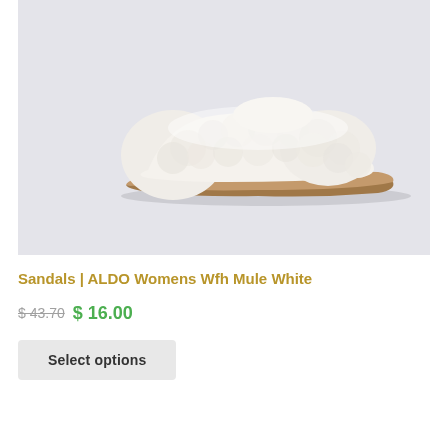[Figure (photo): White fluffy/shearling mule sandal shown in side profile on a light grey background. The shoe has a cream/white fuzzy upper and a light brown/tan sole.]
Sandals | ALDO Womens Wfh Mule White
$ 43.70 $ 16.00
Select options